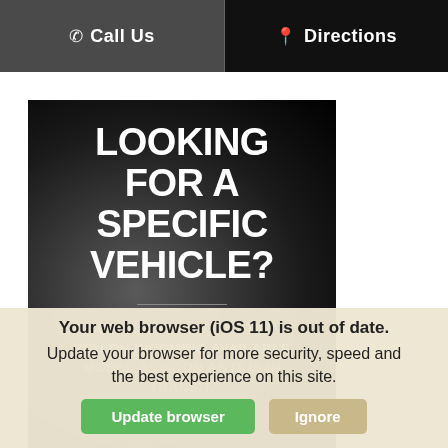Call Us | Directions
[Figure (other): Dark promotional banner with bold white text reading 'LOOKING FOR A SPECIFIC VEHICLE?' with a horizontal divider and subtext 'GET OUR TEAM TO NOTIFY YOU ON INCOMING AVAILABLE MODEL AS SOON AS IT IS IN TRANSIT.']
Your web browser (iOS 11) is out of date. Update your browser for more security, speed and the best experience on this site.
Update browser | Ignore